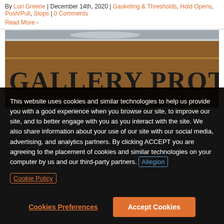By Lori Greene | December 14th, 2020 | Gasketing & Thresholds, Hold Opens, Push/Pull, Stops | 0 Comments
Read More ›
[Figure (photo): Photo of a wooden sign reading 'GALLERY PROTOCOL' in large serif text, partially visible, with a metallic edge at the top]
This website uses cookies and similar technologies to help us provide you with a good experience when you browse our site, to improve our site, and to better engage with you as you interact with the site. We also share information about your use of our site with our social media, advertising, and analytics partners. By clicking ACCEPT you are agreeing to the placement of cookies and similar technologies on your computer by us and our third-party partners. Allegion Cookie Policy
Cookies Preferences
Accept Cookies